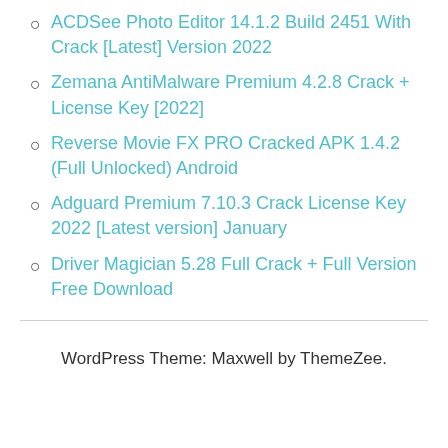ACDSee Photo Editor 14.1.2 Build 2451 With Crack [Latest] Version 2022
Zemana AntiMalware Premium 4.2.8 Crack + License Key [2022]
Reverse Movie FX PRO Cracked APK 1.4.2 (Full Unlocked) Android
Adguard Premium 7.10.3 Crack License Key 2022 [Latest version] January
Driver Magician 5.28 Full Crack + Full Version Free Download
WordPress Theme: Maxwell by ThemeZee.